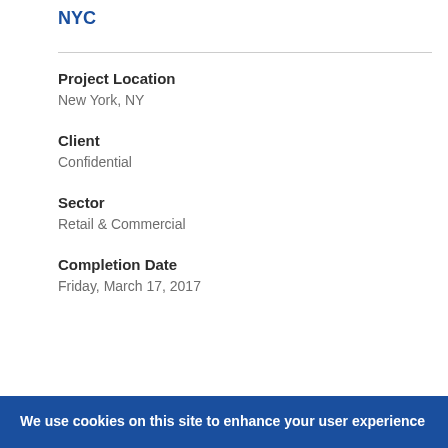NYC
Project Location
New York, NY
Client
Confidential
Sector
Retail & Commercial
Completion Date
Friday, March 17, 2017
We use cookies on this site to enhance your user experience